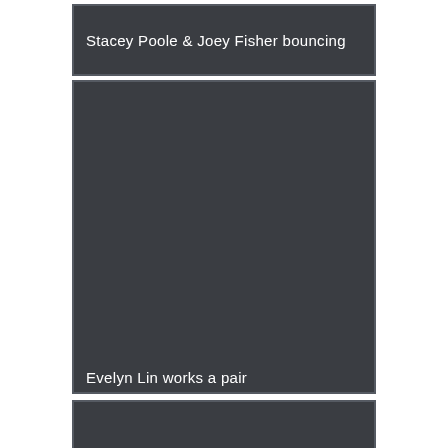Stacey Poole & Joey Fisher bouncing
[Figure (photo): Large dark placeholder image for Stacey Poole & Joey Fisher bouncing video thumbnail]
Evelyn Lin works a pair
[Figure (photo): Partial dark placeholder image for third video thumbnail]